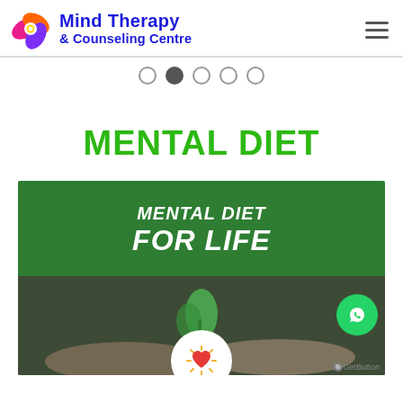Mind Therapy & Counseling Centre
[Figure (screenshot): Slide carousel navigation dots, second dot filled/active]
MENTAL DIET
[Figure (photo): Green banner reading 'MENTAL DIET FOR LIFE' above a photo of hands holding a green plant seedling, with a white circle containing a heart icon at the bottom center, and a WhatsApp contact button at the bottom right with GetButton label]